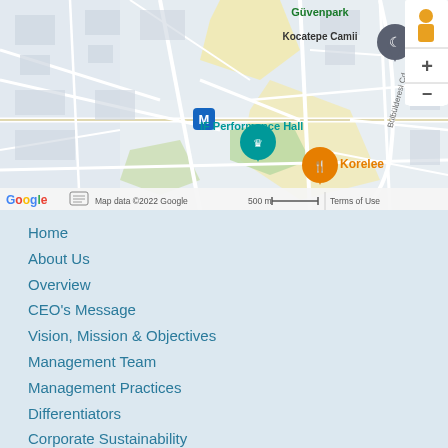[Figure (map): Google Maps screenshot showing a street map of Ankara, Turkey. Visible landmarks include Güvenpark, Kocatepe Camii (mosque), IF Performance Hall, and Korelee restaurant. Map controls (zoom in/out, street view) visible on the right. Bottom bar shows Google logo, map data copyright 2022, 500m scale bar, and Terms of Use link.]
Home
About Us
Overview
CEO's Message
Vision, Mission & Objectives
Management Team
Management Practices
Differentiators
Corporate Sustainability
Corporate Social Responsibility (CSR)